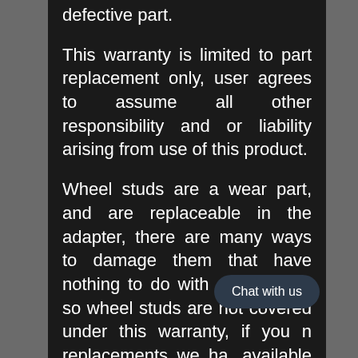defective part.
This warranty is limited to part replacement only, user agrees to assume all other responsibility and or liability arising from use of this product.
Wheel studs are a wear part, and are replaceable in the adapter, there are many ways to damage them that have nothing to do with construction so wheel studs are not covered under this warranty, if you n replacements we ha. available for sale online.